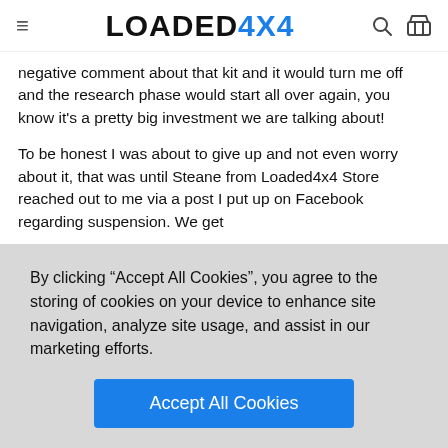LOADED4X4
negative comment about that kit and it would turn me off and the research phase would start all over again, you know it's a pretty big investment we are talking about!
To be honest I was about to give up and not even worry about it, that was until Steane from Loaded4x4 Store reached out to me via a post I put up on Facebook regarding suspension. We get
By clicking “Accept All Cookies”, you agree to the storing of cookies on your device to enhance site navigation, analyze site usage, and assist in our marketing efforts.
Accept All Cookies